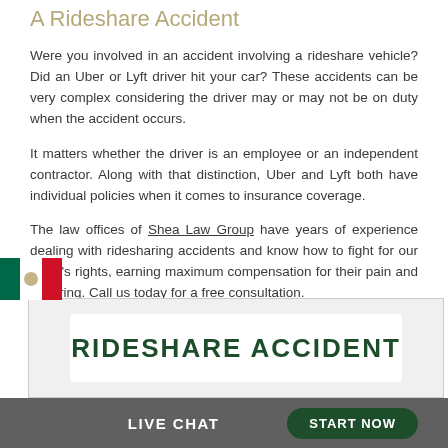A Rideshare Accident
Were you involved in an accident involving a rideshare vehicle? Did an Uber or Lyft driver hit your car? These accidents can be very complex considering the driver may or may not be on duty when the accident occurs.
It matters whether the driver is an employee or an independent contractor. Along with that distinction, Uber and Lyft both have individual policies when it comes to insurance coverage.
The law offices of Shea Law Group have years of experience dealing with ridesharing accidents and know how to fight for our client's rights, earning maximum compensation for their pain and suffering. Call us today for a free consultation.
[Figure (screenshot): Rideshare Accident promotional banner showing text 'RIDESHARE ACCIDENT' in dark green bold letters on a light background, with a Mexican flag icon on the left.]
LIVE CHAT   START NOW